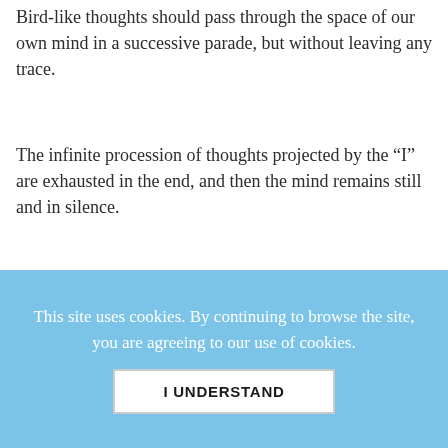Bird-like thoughts should pass through the space of our own mind in a successive parade, but without leaving any trace.
The infinite procession of thoughts projected by the “I” are exhausted in the end, and then the mind remains still and in silence.
A great Self-realized Master said, “Only when the projector, in other words, the ‘I,’ is completely
This site uses cookies. By continuing to browse the site, you are agreeing to our use of cookies.
I UNDERSTAND